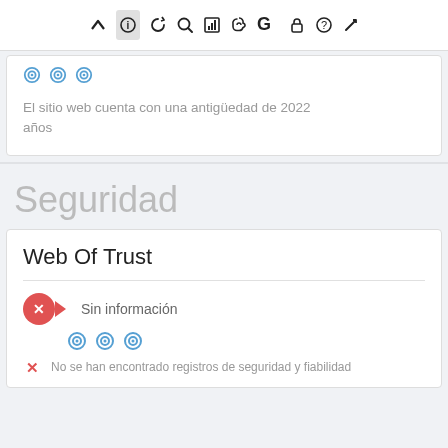[Figure (screenshot): Browser extension toolbar with icons: up arrow, info (highlighted/active), refresh, search, bar chart, thumbs up, G (Google), lock, question mark, pencil]
El sitio web cuenta con una antigüedad de 2022 años
Seguridad
Web Of Trust
Sin información
No se han encontrado registros de seguridad y fiabilidad